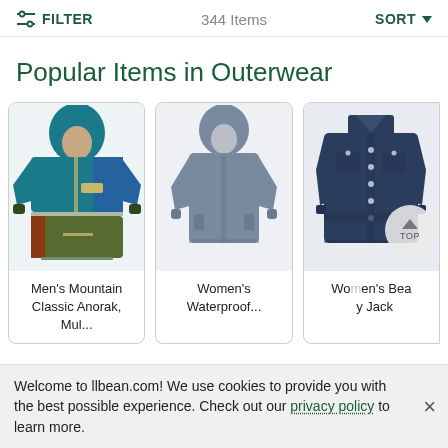FILTER   344 Items   SORT
Popular Items in Outerwear
[Figure (photo): Men's Mountain Classic Anorak jacket - teal/blue/olive/red colorblock pullover with hood]
Men's Mountain Classic Anorak, Mul...
[Figure (photo): Women's Waterproof jacket - grey hooded mid-length coat]
Women's Waterproof...
[Figure (photo): Women's Bean Utility Jack - navy blue button-up shirt jacket]
Women's Bea... y Jack
Welcome to llbean.com! We use cookies to provide you with the best possible experience. Check out our privacy policy to learn more.